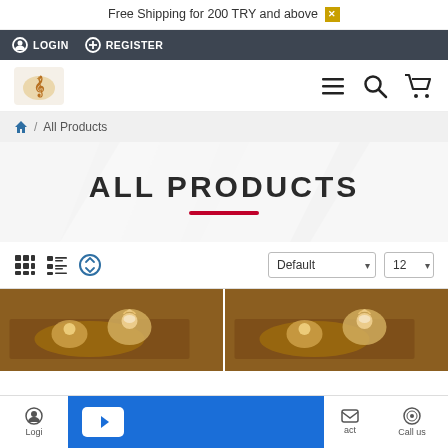Free Shipping for 200 TRY and above
LOGIN  REGISTER
[Figure (logo): Small decorative logo with gold/orange emblem]
hamburger menu, search, cart icons
/ All Products
ALL PRODUCTS
Default  12 (sort and count dropdowns)
[Figure (photo): Two product thumbnails showing decorative items on a wooden surface with golden tray]
Login  Contact  Call us  (mobile bottom navigation)